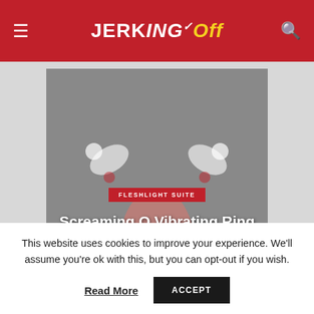JERKING Off
[Figure (photo): Hero image of a vibrating ring toy with overlaid text showing category badge 'FLESHLIGHT SUITE', title 'Screaming O Vibrating Ring Review', and date 'May 2, 2012']
Screaming O Vibrating Ring Review
FLESHLIGHT SUITE
May 2, 2012
This website uses cookies to improve your experience. We'll assume you're ok with this, but you can opt-out if you wish.
Read More
ACCEPT